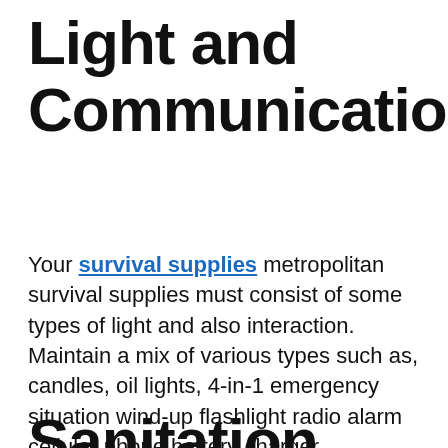Light and Communication
Your survival supplies metropolitan survival supplies must consist of some types of light and also interaction. Maintain a mix of various types such as, candles, oil lights, 4-in-1 emergency situation wind-up flashlight radio alarm cellular phone battery charger combination, suits, lighters, additional batteries as well as a survival whistle. Another great device would certainly be two-way radios, if you have more than a single person.
Sanitation and also...